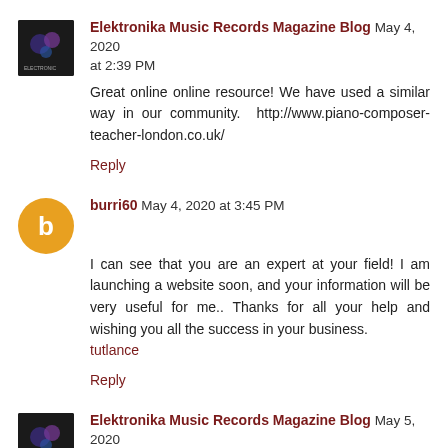Elektronika Music Records Magazine Blog May 4, 2020 at 2:39 PM
Great online online resource! We have used a similar way in our community. http://www.piano-composer-teacher-london.co.uk/
Reply
burri60 May 4, 2020 at 3:45 PM
I can see that you are an expert at your field! I am launching a website soon, and your information will be very useful for me.. Thanks for all your help and wishing you all the success in your business.
tutlance
Reply
Elektronika Music Records Magazine Blog May 5, 2020 at 3:03 AM